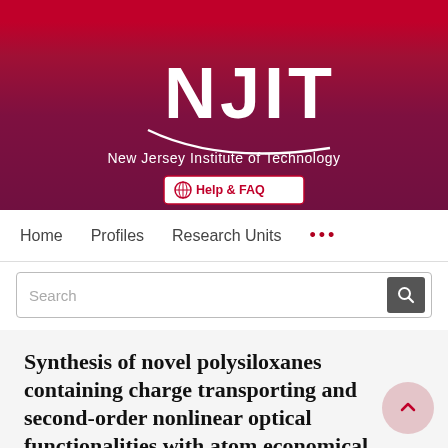[Figure (logo): NJIT New Jersey Institute of Technology logo with red and dark red/maroon banner background]
Help & FAQ
Home   Profiles   Research Units   ...
Search
Synthesis of novel polysiloxanes containing charge transporting and second-order nonlinear optical functionalities with atom economical constructs